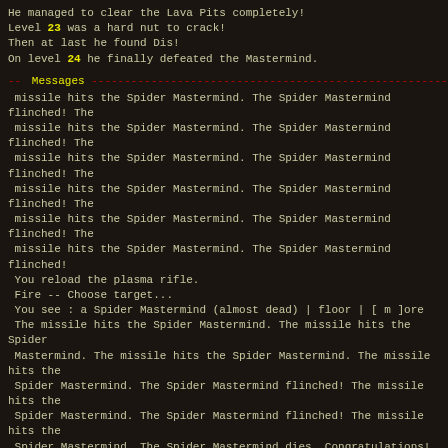He managed to clear the Lava Pits completely!
Level 23 was a hard nut to crack!
Then at last he found Dis!
On level 24 he finally defeated the Mastermind.
-- Messages
missile hits the Spider Mastermind. The Spider Mastermind flinched! The
 missile hits the Spider Mastermind. The Spider Mastermind flinched! The
 missile hits the Spider Mastermind. The Spider Mastermind flinched! The
 missile hits the Spider Mastermind. The Spider Mastermind flinched! The
 missile hits the Spider Mastermind. The Spider Mastermind flinched! The
 missile hits the Spider Mastermind. The Spider Mastermind flinched!
 You reload the plasma rifle.
 Fire -- Choose target...
 You see : a Spider Mastermind (almost dead) | floor | [ m ]ore
 The missile hits the Spider Mastermind. The missile hits the Spider
 Mastermind. The missile hits the Spider Mastermind. The missile hits the
 Spider Mastermind. The Spider Mastermind flinched! The missile hits the
 Spider Mastermind. The Spider Mastermind flinched! The missile hits the
 Spider Mastermind. The Spider Mastermind dies. Congratulations! You defeated
 the Spider Mastermind! Press <Enter>...
 You feel relatively safe now.
-- General
4511 brave souls have ventured into Phobos: